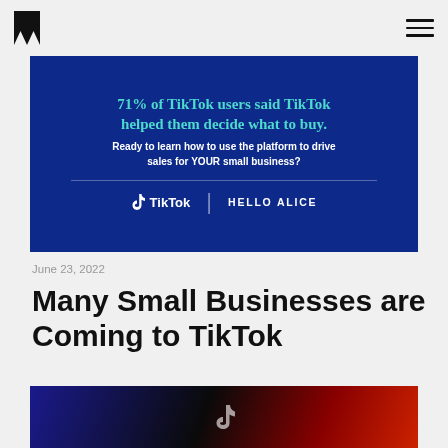M [logo] [hamburger menu]
[Figure (other): Dark blue promotional banner with teal/green heading text (partially cropped): TikTok users said TikTok helped them decide what to buy. Subtext: Ready to learn how to use the platform to drive sales for YOUR small business? Horizontal divider. TikTok logo and HELLO ALICE branding at bottom.]
June 23, 2022
Many Small Businesses are Coming to TikTok
[Figure (photo): Partial bottom image showing dark background with blue and red tones, likely a TikTok logo or phone screen, cropped at page bottom.]